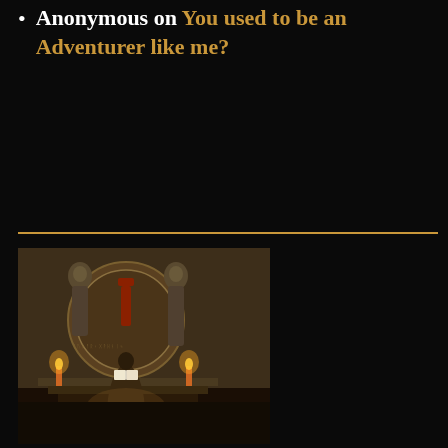Anonymous on You used to be an Adventurer like me?
[Figure (illustration): Fantasy illustration of a robed figure standing before a large stone medallion or relief carving, reading from an open book. The circular stone carving features runes or symbols and two hooded stone statues flank it. Candles illuminate the scene from below with warm golden light.]